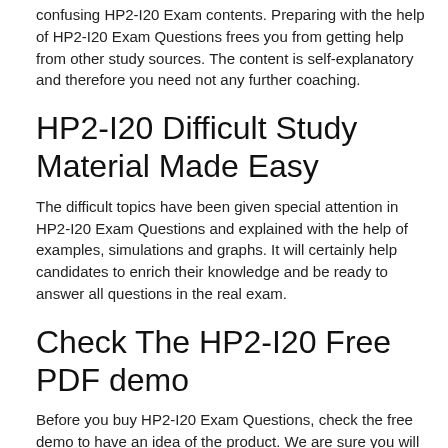confusing HP2-I20 Exam contents. Preparing with the help of HP2-I20 Exam Questions frees you from getting help from other study sources. The content is self-explanatory and therefore you need not any further coaching.
HP2-I20 Difficult Study Material Made Easy
The difficult topics have been given special attention in HP2-I20 Exam Questions and explained with the help of examples, simulations and graphs. It will certainly help candidates to enrich their knowledge and be ready to answer all questions in the real exam.
Check The HP2-I20 Free PDF demo
Before you buy HP2-I20 Exam Questions, check the free demo to have an idea of the product. We are sure you will find them as per your requirement. You can compare